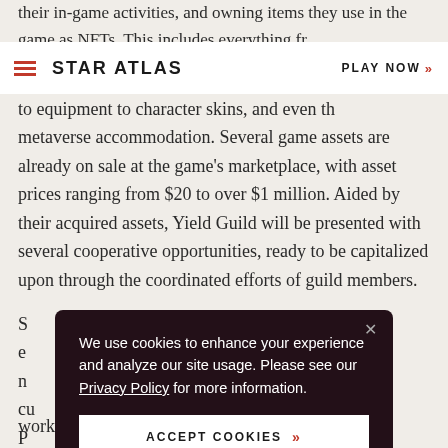STAR ATLAS | PLAY NOW
their in-game activities, and owning items they use in the game as NFTs. This includes everything fr... to equipment to character skins, and even th... metaverse accommodation. Several game assets are already on sale at the game's marketplace, with asset prices ranging from $20 to over $1 million. Aided by their acquired assets, Yield Guild will be presented with several cooperative opportunities, ready to be capitalized upon through the coordinated efforts of guild members.
S... e... n ... cu... P... p... e... working towards launch.
We use cookies to enhance your experience and analyze our site usage. Please see our Privacy Policy for more information.
ACCEPT COOKIES >>